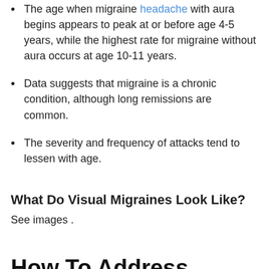The age when migraine headache with aura begins appears to peak at or before age 4-5 years, while the highest rate for migraine without aura occurs at age 10-11 years.
Data suggests that migraine is a chronic condition, although long remissions are common.
The severity and frequency of attacks tend to lessen with age.
What Do Visual Migraines Look Like?
See images .
How To Address Chronic Eye Strain & Headaches